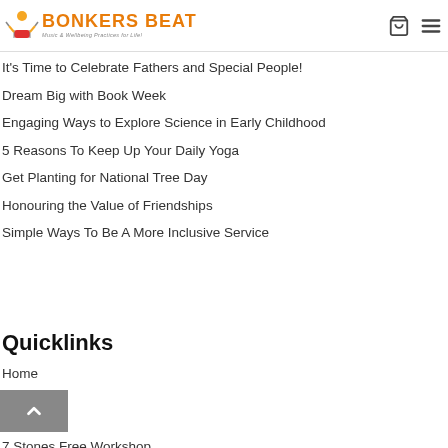[Figure (logo): Bonkers Beat logo with cartoon character and drum, text 'Bonkers Beat Music & Wellbeing Practices for Life!']
It's Time to Celebrate Fathers and Special People!
Dream Big with Book Week
Engaging Ways to Explore Science in Early Childhood
5 Reasons To Keep Up Your Daily Yoga
Get Planting for National Tree Day
Honouring the Value of Friendships
Simple Ways To Be A More Inclusive Service
Quicklinks
Home
About Us
Training
7 Stones Free Workshop